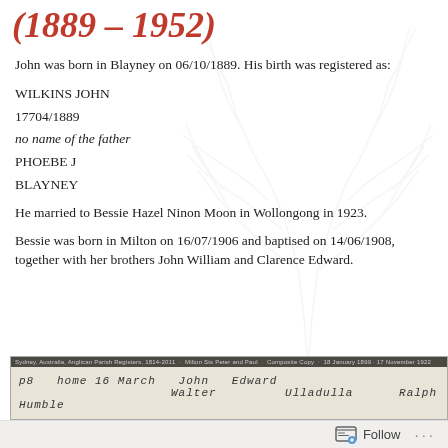(1889 – 1952)
John was born in Blayney on 06/10/1889. His birth was registered as:
WILKINS JOHN
17704/1889
no name of the father
PHOEBE J
BLAYNEY
He married to Bessie Hazel Ninon Moon in Wollongong in 1923.
Bessie was born in Milton on 16/07/1906 and baptised on 14/06/1908, together with her brothers John William and Clarence Edward.
[Figure (photo): A scanned historical document image showing handwritten text from what appears to be a church parish register from Sydney, Australia, Anglican Parish Registers, 1814-2011, Milton Sts Peter and Paul, Composite Copy, 18 January 1899 - 17 November 1922.]
Follow